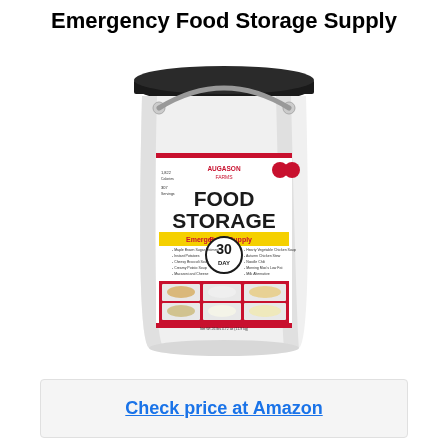Emergency Food Storage Supply
[Figure (photo): Augason Farms 30-Day Emergency Food Storage Supply bucket, white plastic pail with black lid and colorful label showing FOOD STORAGE Emergency Food Supply 30 DAY with images of food dishes]
Check price at Amazon